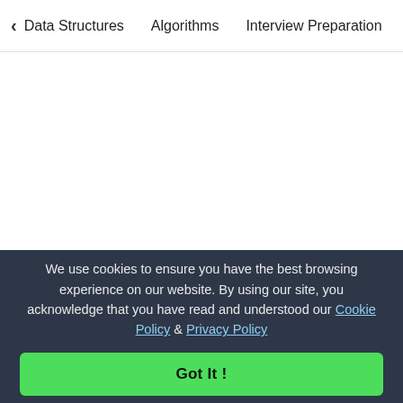< Data Structures   Algorithms   Interview Preparation   To>
[Figure (logo): GeeksforGeeks logo with green GFG icon and dark text wordmark]
A-143, 9th Floor, Sovereign Corporate Tower
We use cookies to ensure you have the best browsing experience on our website. By using our site, you acknowledge that you have read and understood our Cookie Policy & Privacy Policy
Got It !